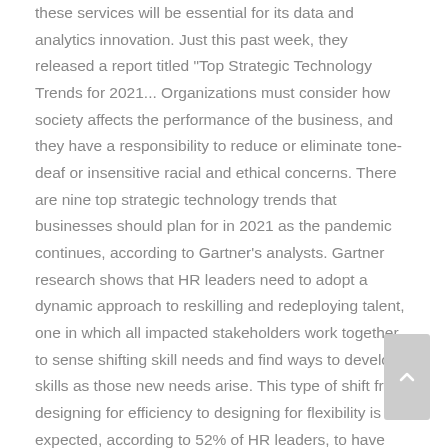these services will be essential for its data and analytics innovation. Just this past week, they released a report titled "Top Strategic Technology Trends for 2021... Organizations must consider how society affects the performance of the business, and they have a responsibility to reduce or eliminate tone-deaf or insensitive racial and ethical concerns. There are nine top strategic technology trends that businesses should plan for in 2021 as the pandemic continues, according to Gartner's analysts. Gartner research shows that HR leaders need to adopt a dynamic approach to reskilling and redeploying talent, one in which all impacted stakeholders work together to sense shifting skill needs and find ways to develop skills as those new needs arise. This type of shift from designing for efficiency to designing for flexibility is expected, according to 52% of HR leaders, to have